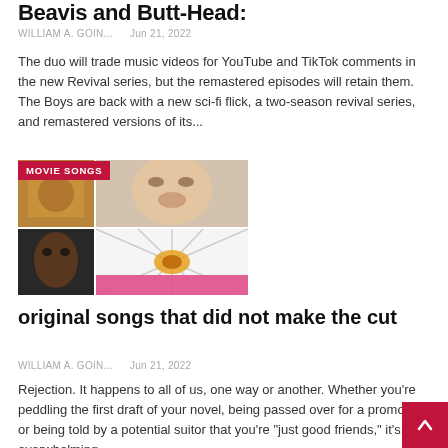Beavis and Butt-Head:
WILLIAM A. GOIN...   Jun 21, 2022
The duo will trade music videos for YouTube and TikTok comments in the new Revival series, but the remastered episodes will retain them. The Boys are back with a new sci-fi flick, a two-season revival series, and remastered versions of its...
[Figure (photo): Movie Songs collage image with badge, showing multiple movie stills including space corridor, close-up faces, and a pink abstract image.]
original songs that did not make the cut
WILLIAM A. GOIN...   Jun 21, 2022
Rejection. It happens to all of us, one way or another. Whether you're peddling the first draft of your novel, being passed over for a promotion, or being told by a potential suitor that you're "just good friends," it's an overwhelming...